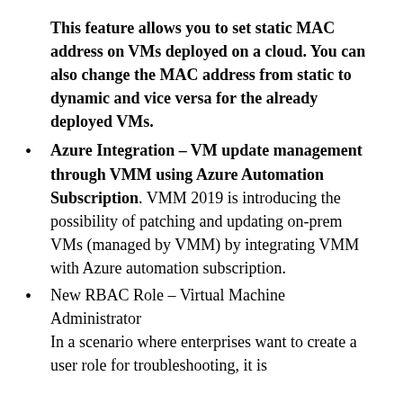This feature allows you to set static MAC address on VMs deployed on a cloud. You can also change the MAC address from static to dynamic and vice versa for the already deployed VMs.
Azure Integration – VM update management through VMM using Azure Automation Subscription. VMM 2019 is introducing the possibility of patching and updating on-prem VMs (managed by VMM) by integrating VMM with Azure automation subscription.
New RBAC Role – Virtual Machine Administrator
In a scenario where enterprises want to create a user role for troubleshooting, it is